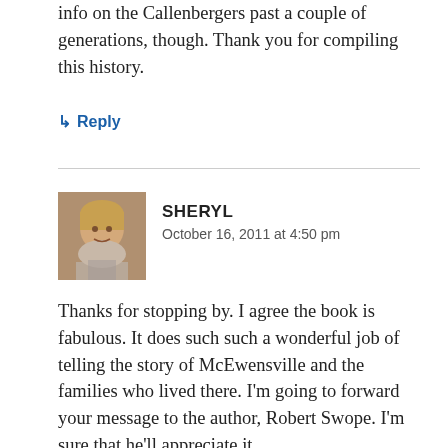info on the Callenbergers past a couple of generations, though. Thank you for compiling this history.
↳ Reply
SHERYL
October 16, 2011 at 4:50 pm
Thanks for stopping by. I agree the book is fabulous. It does such such a wonderful job of telling the story of McEwensville and the families who lived there. I'm going to forward your message to the author, Robert Swope. I'm sure that he'll appreciate it.
↳ Reply